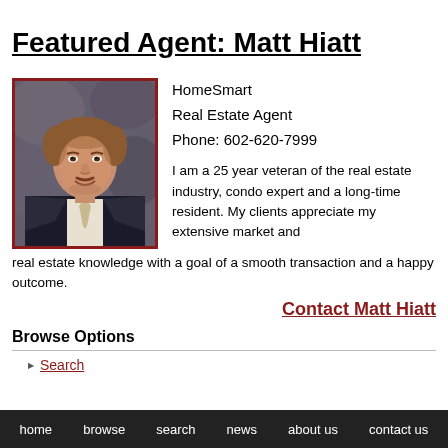Featured Agent: Matt Hiatt
[Figure (photo): Professional headshot of Matt Hiatt, a man in a dark suit with a light tie, smiling, against a dark background.]
HomeSmart
Real Estate Agent
Phone: 602-620-7999

I am a 25 year veteran of the real estate industry, condo expert and a long-time resident. My clients appreciate my extensive market and real estate knowledge with a goal of a smooth transaction and a happy outcome.
Contact Matt Hiatt
Browse Options
Search
home   browse   search   news   about us   contact us